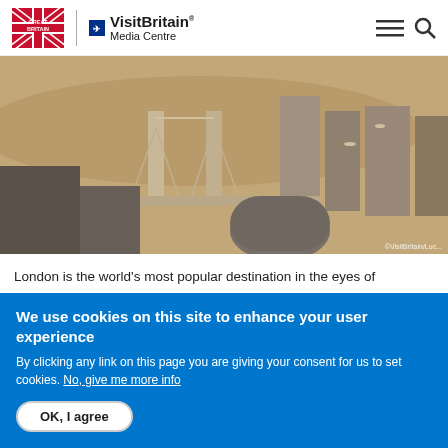VisitBritain Media Centre
[Figure (photo): Aerial view of London showing Tower Bridge and the River Thames with city buildings]
London is the world's most popular destination in the eyes of
We use cookies on this site to enhance your user experience
By clicking any link on this page you are giving your consent for us to set cookies. No, give me more info
OK, I agree